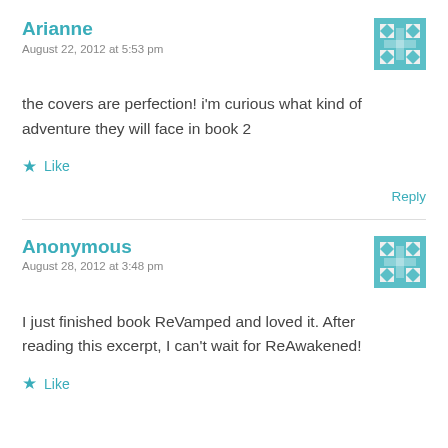Arianne
August 22, 2012 at 5:53 pm
the covers are perfection! i'm curious what kind of adventure they will face in book 2
★ Like
Reply
Anonymous
August 28, 2012 at 3:48 pm
I just finished book ReVamped and loved it. After reading this excerpt, I can't wait for ReAwakened!
★ Like